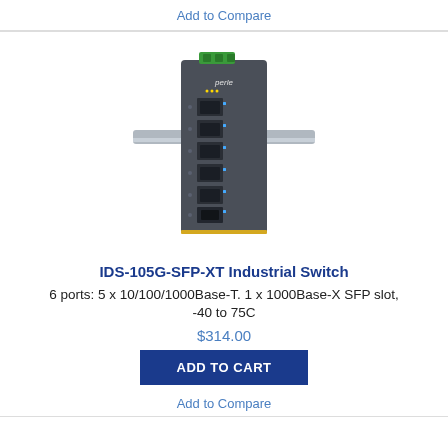Add to Compare
[Figure (photo): Photo of IDS-105G-SFP-XT Industrial Switch — a slim dark grey metal network switch with green terminal block on top, 5 RJ45 ports and 1 SFP slot on the front face, mounted on a DIN rail, Perle logo visible]
IDS-105G-SFP-XT Industrial Switch
6 ports: 5 x 10/100/1000Base-T. 1 x 1000Base-X SFP slot, -40 to 75C
$314.00
ADD TO CART
Add to Compare